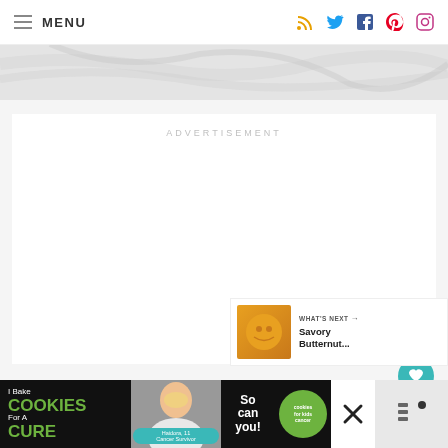MENU
[Figure (photo): Marble texture banner image]
ADVERTISEMENT
[Figure (photo): Teal heart favorite button (floating)]
[Figure (photo): Share button (floating)]
WHAT'S NEXT → Savory Butternut...
[Figure (photo): Bottom banner ad: I Bake COOKIES For A CURE / So can you! / cookies for kids cancer]